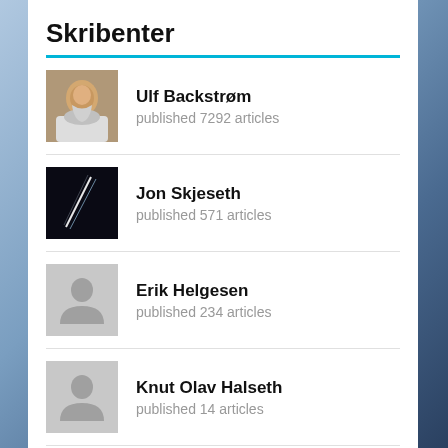Skribenter
Ulf Backstrøm — published 7292 articles
Jon Skjeseth — published 571 articles
Erik Helgesen — published 234 articles
Knut Olav Halseth — published 14 articles
permafrost — published 5 articles